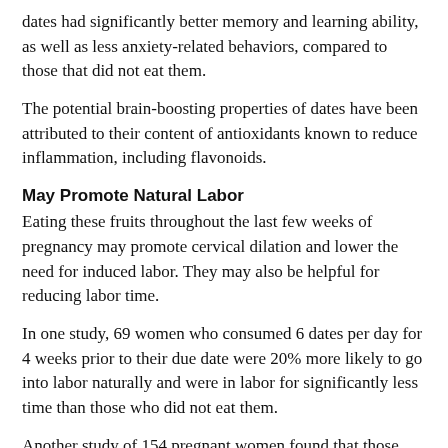dates had significantly better memory and learning ability, as well as less anxiety-related behaviors, compared to those that did not eat them.
The potential brain-boosting properties of dates have been attributed to their content of antioxidants known to reduce inflammation, including flavonoids.
May Promote Natural Labor
Eating these fruits throughout the last few weeks of pregnancy may promote cervical dilation and lower the need for induced labor. They may also be helpful for reducing labor time.
In one study, 69 women who consumed 6 dates per day for 4 weeks prior to their due date were 20% more likely to go into labor naturally and were in labor for significantly less time than those who did not eat them.
Another study of 154 pregnant women found that those who ate dates were much less likely to be induced compared to those who did not.
A third study found similar results i… who consumed 70–76 grams of dates daily starting the 37th week of pregnancy. They were in active labor for an